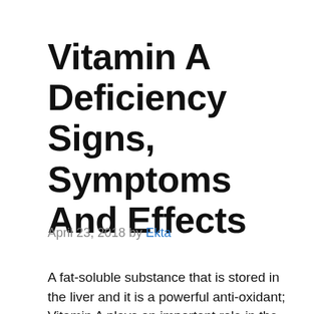Vitamin A Deficiency Signs, Symptoms And Effects
April 23, 2018 by Ekta
A fat-soluble substance that is stored in the liver and it is a powerful anti-oxidant; Vitamin A plays an important role in the human body. The first vitamin to be discovered, therefore, it is given this...